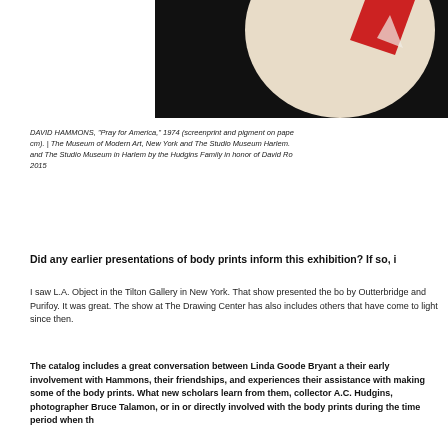[Figure (photo): Partial view of artwork – beige circular form with red angular shape against dark/black background, cropped at top]
DAVID HAMMONS, "Pray for America," 1974 (screenprint and pigment on paper; cm). | The Museum of Modern Art, New York and The Studio Museum Harlem. and The Studio Museum in Harlem by the Hudgins Family in honor of David Ro 2015
Did any earlier presentations of body prints inform this exhibition? If so, i
I saw L.A. Object in the Tilton Gallery in New York. That show presented the bo by Outterbridge and Purifoy. It was great. The show at The Drawing Center has also includes others that have come to light since then.
The catalog includes a great conversation between Linda Goode Bryant a their early involvement with Hammons, their friendships, and experiences their assistance with making some of the body prints. What new scholars learn from them, collector A.C. Hudgins, photographer Bruce Talamon, or in or directly involved with the body prints during the time period when th